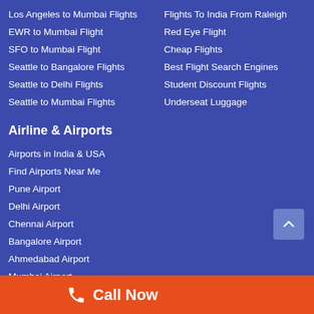Los Angeles to Mumbai Flights
EWR to Mumbai Flight
SFO to Mumbai Flight
Seattle to Bangalore Flights
Seattle to Delhi Flights
Seattle to Mumbai Flights
Flights To India From Raleigh
Red Eye Flight
Cheap Flights
Best Flight Search Engines
Student Discount Flights
Underseat Luggage
Airline & Airports
Airports in India & USA
Find Airports Near Me
Pune Airport
Delhi Airport
Chennai Airport
Bangalore Airport
Ahmedabad Airport
Mumbai Airport
Atlanta Airport
Call Now